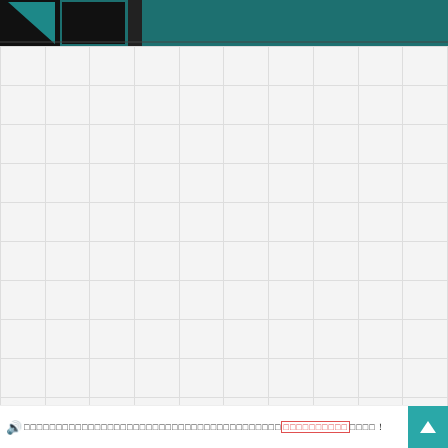[Figure (logo): Website header with teal/dark background containing a logo with geometric shapes (triangular/rectangular forms in black and teal)]
|  |  |  |  |  |  |  |  |  |  |
|  |  |  |  |  |  |  |  |  |  |
|  |  |  |  |  |  |  |  |  |  |
|  |  |  |  |  |  |  |  |  |  |
|  |  |  |  |  |  |  |  |  |  |
|  |  |  |  |  |  |  |  |  |  |
|  |  |  |  |  |  |  |  |  |  |
|  |  |  |  |  |  |  |  |  |  |
|  |  |  |  |  |  |  |  |  |  |
|  |  |  |  |  |  |  |  |  |  |
🔊 □□□□□□□□□□□□□□□□□□□□□□□□□□□□□□□□□□□□□□□□□□□□□□□□□□□□！